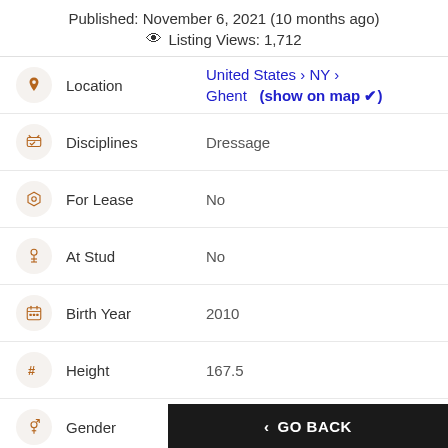Published: November 6, 2021 (10 months ago)
👁 Listing Views: 1,712
| Field | Value |
| --- | --- |
| Location | United States > NY > Ghent (show on map ✓) |
| Disciplines | Dressage |
| For Lease | No |
| At Stud | No |
| Birth Year | 2010 |
| Height | 167.5 |
| Gender | Gelding |
< GO BACK